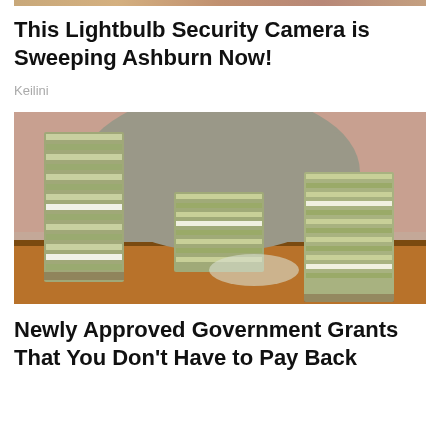[Figure (photo): Partial top strip of an image visible at very top of page, showing skin tones — top of a previous article's photo]
This Lightbulb Security Camera is Sweeping Ashburn Now!
Keilini
[Figure (photo): Photo of large stacks of bundled currency (banknotes) piled high on a wooden table, with a person in a grey jacket/shirt leaning over them in the background. Indoor setting with pinkish walls.]
Newly Approved Government Grants That You Don't Have to Pay Back